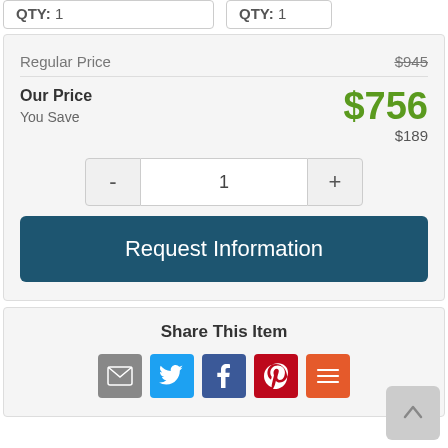QTY: 1
QTY: 1
| Regular Price | $945 |
| Our Price | $756 |
| You Save | $189 |
- 1 +
Request Information
Share This Item
[Figure (other): Social share icons: Email, Twitter, Facebook, Pinterest, More]